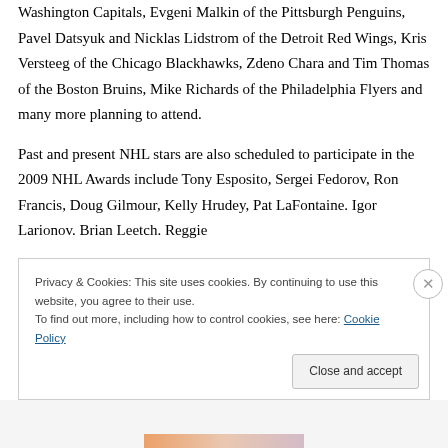Washington Capitals, Evgeni Malkin of the Pittsburgh Penguins, Pavel Datsyuk and Nicklas Lidstrom of the Detroit Red Wings, Kris Versteeg of the Chicago Blackhawks, Zdeno Chara and Tim Thomas of the Boston Bruins, Mike Richards of the Philadelphia Flyers and many more planning to attend.
Past and present NHL stars are also scheduled to participate in the 2009 NHL Awards include Tony Esposito, Sergei Fedorov, Ron Francis, Doug Gilmour, Kelly Hrudey, Pat LaFontaine. Igor Larionov. Brian Leetch. Reggie
Privacy & Cookies: This site uses cookies. By continuing to use this website, you agree to their use.
To find out more, including how to control cookies, see here: Cookie Policy